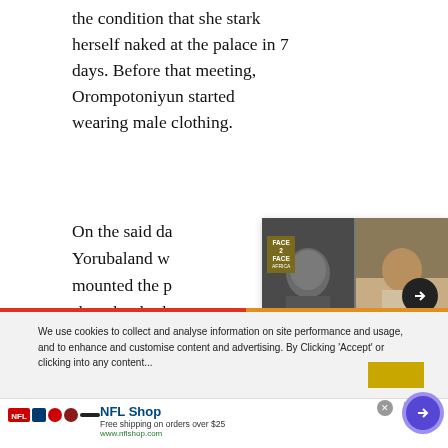the condition that she stark herself naked at the palace in 7 days. Before that meeting, Orompotoniyun started wearing male clothing.
On the said da... Yorubaland w... mounted the p... show her barb... but the counc...
[Figure (photo): A popup card with Face2Face Africa logo showing two music artists side-by-side — left: black-and-white photo of a male artist with chain necklace, right: color photo of a male artist with dreadlocks. An arrow button is overlaid on the right side. Below the images is text: 'Three collaborations between African artistes that would be a hit']
We use cookies to collect and analyse information on site performance and usage, and to enhance and customise content and advertising. By Clicking 'Accept' or clicking into any content...
[Figure (infographic): NFL Shop advertisement banner with team logos, text 'NFL Shop', 'Free shipping on orders over $25', 'www.nflshop.com', a close X button, an ad indicator icon, and a purple arrow circle button.]